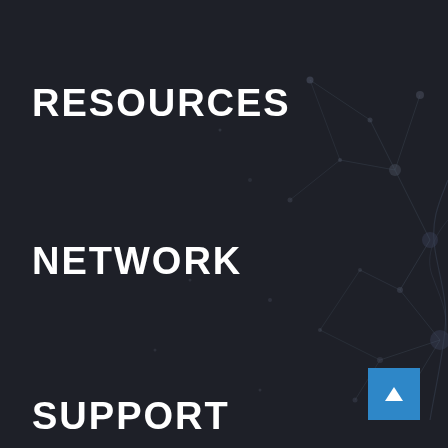[Figure (illustration): Dark background with subtle network graph/node illustration on the right side — faint glowing nodes connected by lines forming an abstract network or map pattern]
RESOURCES
NETWORK
SUPPORT